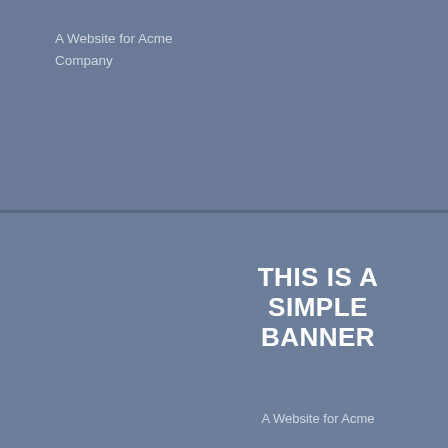A Website for Acme Company
THIS IS A SIMPLE BANNER
A Website for Acme